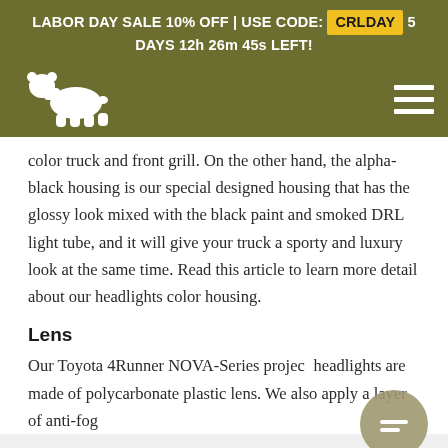LABOR DAY SALE 10% OFF | USE CODE: CRLDAY 5 DAYS 12h 26m 45s LEFT!
[Figure (logo): White grizzly bear logo on olive/dark green background with hamburger menu icon on right]
color truck and front grill. On the other hand, the alpha-black housing is our special designed housing that has the glossy look mixed with the black paint and smoked DRL light tube, and it will give your truck a sporty and luxury look at the same time. Read this article to learn more detail about our headlights color housing.
Lens
Our Toyota 4Runner NOVA-Series project headlights are made of polycarbonate plastic lens. We also apply a layer of anti-fog